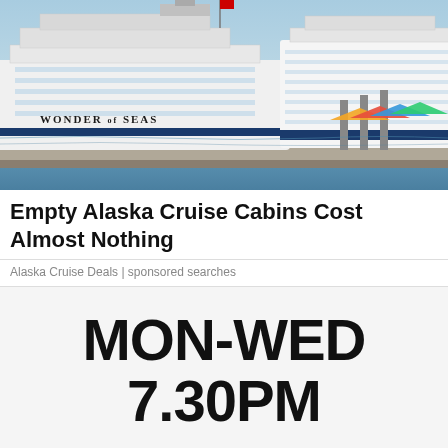[Figure (photo): Two large cruise ships docked at port. The left ship is labeled 'WONDER of the SEAS'. Bright blue sky and colorful dockside structures visible.]
Empty Alaska Cruise Cabins Cost Almost Nothing
Alaska Cruise Deals | sponsored searches
[Figure (infographic): TV broadcast schedule graphic on light grey background with horizontal stripe placeholders, showing 'MON-WED 7.30PM' in large bold black text, and two logos: '+THREE' and '+THREE now']